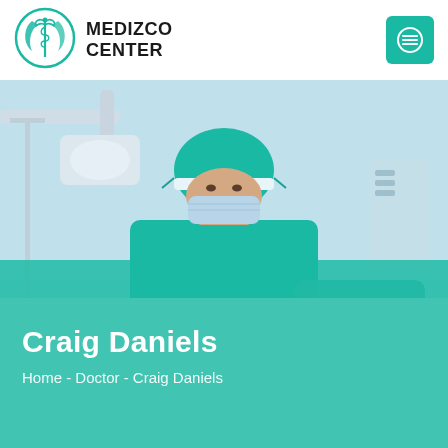[Figure (logo): Medizco Center logo: circular emblem with caduceus and teal leaf shapes]
MEDIZCO CENTER
[Figure (photo): A surgeon wearing teal surgical gown, blue face mask, and surgical cap standing in an operating room with medical equipment and lights in the background]
Craig Daniels
Home - Doctor - Craig Daniels